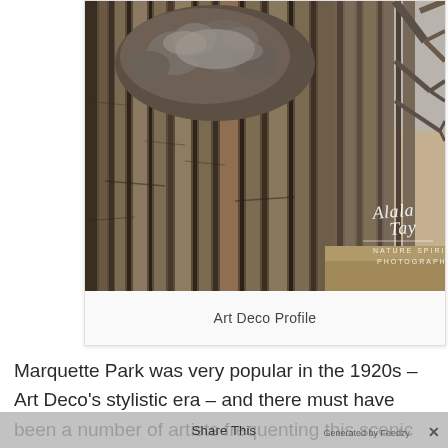[Figure (photo): Close-up photograph of deeply textured tree bark with a large burl/knot at the top center. Additional tree trunks and bare branches are visible in the background on the right side. A watermark reads 'Alala Tay / Nature Spirit / Photography' in the lower right corner.]
Art Deco Profile
Marquette Park was very popular in the 1920s – Art Deco's stylistic era – and there must have been a number of artists frequenting this scenic